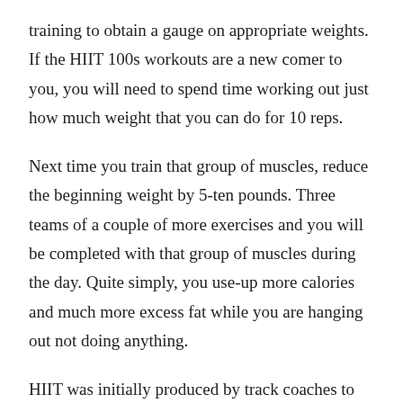training to obtain a gauge on appropriate weights. If the HIIT 100s workouts are a new comer to you, you will need to spend time working out just how much weight that you can do for 10 reps.
Next time you train that group of muscles, reduce the beginning weight by 5-ten pounds. Three teams of a couple of more exercises and you will be completed with that group of muscles during the day. Quite simply, you use-up more calories and much more excess fat while you are hanging out not doing anything.
HIIT was initially produced by track coaches to coach runners, however it has entered to the fitness industry because of its fat-burning benefits confirmed many occasions in research see ""HIIT Findings". Enter HIIT 100s, M&F's most effective program up to now for whittling away persistent excess fat